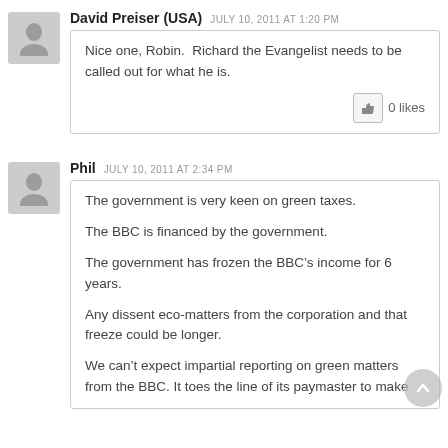David Preiser (USA)  JULY 10, 2011 AT 1:20 PM
Nice one, Robin.  Richard the Evangelist needs to be called out for what he is.
0 likes
Phil  JULY 10, 2011 AT 2:34 PM
The government is very keen on green taxes.

The BBC is financed by the government.

The government has frozen the BBC's income for 6 years.

Any dissent eco-matters from the corporation and that freeze could be longer.

We can't expect impartial reporting on green matters from the BBC. It toes the line of its paymaster to make